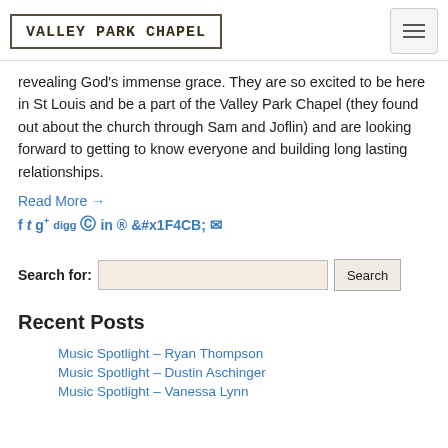VALLEY PARK CHAPEL
revealing God's immense grace. They are so excited to be here in St Louis and be a part of the Valley Park Chapel (they found out about the church through Sam and Joflin) and are looking forward to getting to know everyone and building long lasting relationships.
Read More →
[Figure (other): Social media sharing icons: Facebook, Twitter, Google+, Digg, Reddit, LinkedIn, Pinterest, StumbleUpon, Email]
Search for: [search input] Search
Recent Posts
Music Spotlight – Ryan Thompson
Music Spotlight – Dustin Aschinger
Music Spotlight – Vanessa Lynn